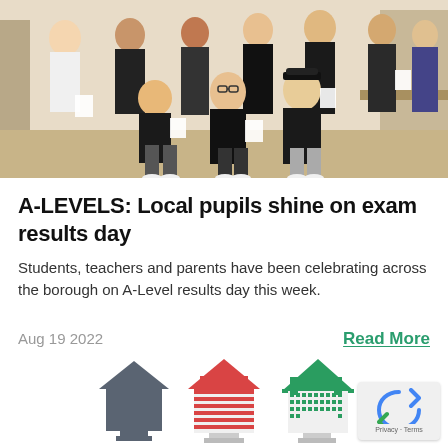[Figure (photo): Group photo of students, likely celebrating A-Level results day, posing together in what appears to be a classroom or school setting. Several young men holding papers.]
A-LEVELS: Local pupils shine on exam results day
Students, teachers and parents have been celebrating across the borough on A-Level results day this week.
Aug 19 2022
Read More
[Figure (illustration): Three house/building icons at the bottom of the page — a dark grey house, a red striped house, and a green pixelated house, suggesting different housing or community categories.]